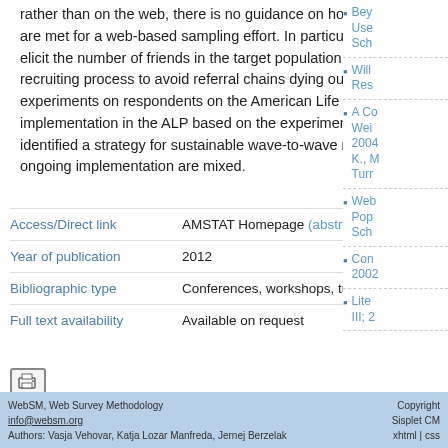rather than on the web, there is no guidance on how to ensure RDS assumptions are met for a web-based sampling effort. In particular, it is unclear how to best elicit the number of friends in the target population and how to facilitate the recruiting process to avoid referral chains dying out. We present results from two experiments on respondents on the American Life Panel (ALP), and from an implementation in the ALP based on the experiments. While the experiments identified a strategy for sustainable wave-to-wave recruiting, results from the ongoing implementation are mixed.
| Access/Direct link | AMSTAT Homepage (abstract) / (presentation) |
| Year of publication | 2012 |
| Bibliographic type | Conferences, workshops, tutorials, presentations |
| Full text availability | Available on request |
[Figure (other): Print/save icon button]
Beyond User-Sch...
Will Res...
A Co... Wei... 2004 K., M. Turr...
Web Pop... Sch...
Con... 2002...
Lite... III; 2...
WebSM, Web Survey Methodology
info@websm.org
Authors: Vasja Vehovar, Katja Lozar Manfreda, Jernej Berzelak
Copyright Sisplet CM xhtml | css